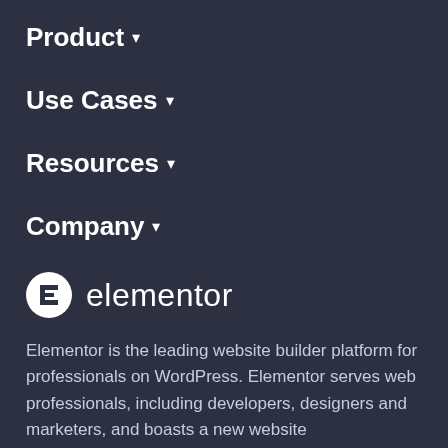Product ▾
Use Cases ▾
Resources ▾
Company ▾
[Figure (logo): Elementor logo: circular icon with letter E followed by the word 'elementor' in white on dark background]
Elementor is the leading website builder platform for professionals on WordPress. Elementor serves web professionals, including developers, designers and marketers, and boasts a new website